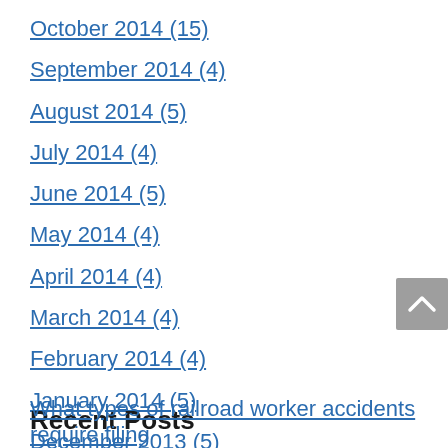October 2014 (15)
September 2014 (4)
August 2014 (5)
July 2014 (4)
June 2014 (5)
May 2014 (4)
April 2014 (4)
March 2014 (4)
February 2014 (4)
January 2014 (5)
December 2013 (5)
November 2013 (3)
October 2013 (4)
Recent Posts
What types of railroad worker accidents require filing